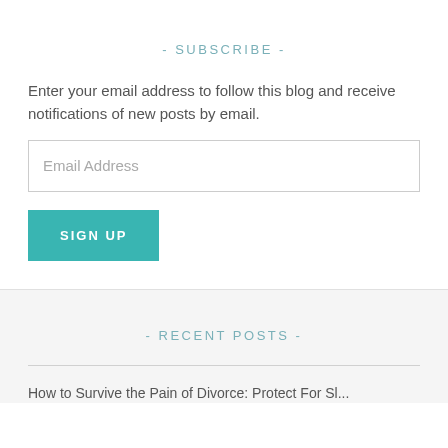- SUBSCRIBE -
Enter your email address to follow this blog and receive notifications of new posts by email.
Email Address
SIGN UP
- RECENT POSTS -
How to Survive the Pain of Divorce: Protect For Sl...